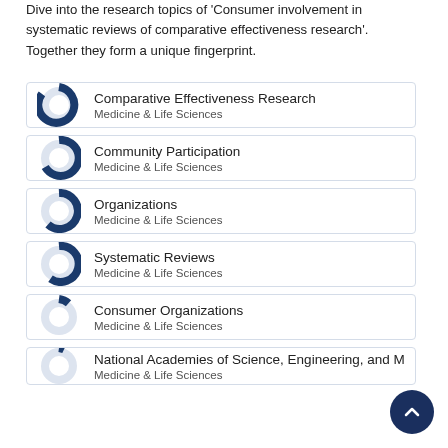Dive into the research topics of 'Consumer involvement in systematic reviews of comparative effectiveness research'. Together they form a unique fingerprint.
[Figure (donut-chart): Donut chart ~90% filled, Medicine & Life Sciences]
[Figure (donut-chart): Donut chart ~60% filled, Medicine & Life Sciences]
[Figure (donut-chart): Donut chart ~45% filled, Medicine & Life Sciences]
[Figure (donut-chart): Donut chart ~40% filled, Medicine & Life Sciences]
[Figure (donut-chart): Donut chart ~15% filled, Medicine & Life Sciences]
[Figure (donut-chart): Donut chart partially visible, Medicine & Life Sciences]